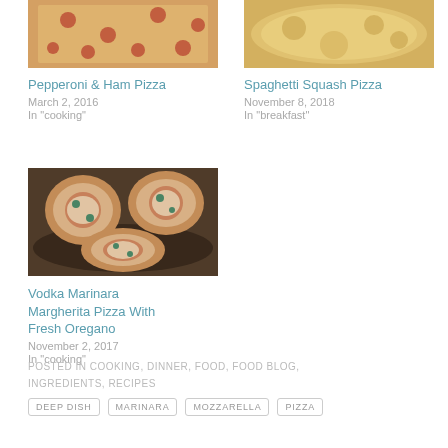[Figure (photo): Pepperoni and ham pizza in a rectangular pan, top-down view]
Pepperoni & Ham Pizza
March 2, 2016
In "cooking"
[Figure (photo): Spaghetti squash pizza, close-up top view with melted cheese]
Spaghetti Squash Pizza
November 8, 2018
In "breakfast"
[Figure (photo): Vodka marinara margherita pizzas on a dark cast iron pan with fresh oregano leaves]
Vodka Marinara Margherita Pizza With Fresh Oregano
November 2, 2017
In "cooking"
POSTED IN COOKING, DINNER, FOOD, FOOD BLOG, INGREDIENTS, RECIPES
DEEP DISH   MARINARA   MOZZARELLA   PIZZA